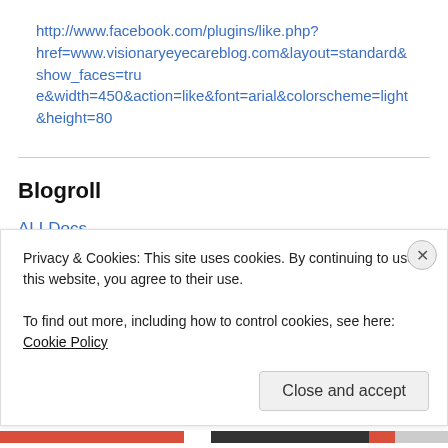http://www.facebook.com/plugins/like.php?href=www.visionaryeyecareblog.com&layout=standard&show_faces=true&width=450&action=like&font=arial&colorscheme=light&height=80
Blogroll
ALLDocs
American Optometric Association
AOA President's BLOG: Pete's AOA Weblog
Bascom Palmer Eye Institute in Miami
Boston Retinal Implant Project
Florida Optometric Association
Privacy & Cookies: This site uses cookies. By continuing to use this website, you agree to their use.
To find out more, including how to control cookies, see here: Cookie Policy